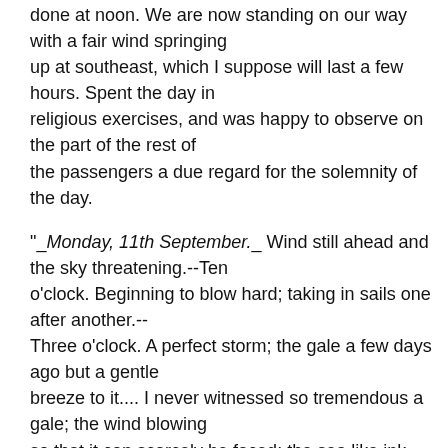done at noon. We are now standing on our way with a fair wind springing up at southeast, which I suppose will last a few hours. Spent the day in religious exercises, and was happy to observe on the part of the rest of the passengers a due regard for the solemnity of the day.
"_Monday, 11th September._ Wind still ahead and the sky threatening.--Ten o'clock. Beginning to blow hard; taking in sails one after another.-- Three o'clock. A perfect storm; the gale a few days ago but a gentle breeze to it.... I never witnessed so tremendous a gale; the wind blowing so that it can scarcely be faced; the sea like ink excepting the whiteness of the surge, which is carried into the air like clouds of dust, or like the driving of snow. The wind piping through our bare rigging sounds most terrific; indeed, it is a most awful sight. The sea in mountains breaking over our bows, and a single wave dispersing in mist.